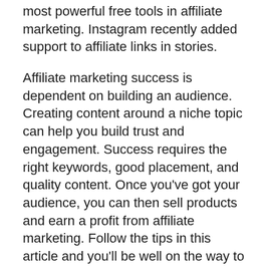most powerful free tools in affiliate marketing. Instagram recently added support to affiliate links in stories.
Affiliate marketing success is dependent on building an audience. Creating content around a niche topic can help you build trust and engagement. Success requires the right keywords, good placement, and quality content. Once you’ve got your audience, you can then sell products and earn a profit from affiliate marketing. Follow the tips in this article and you’ll be well on the way to affiliate marketing success.
Affiliate Marketing Examples